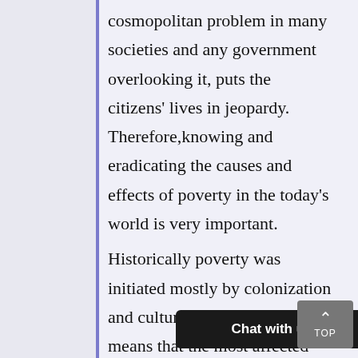cosmopolitan problem in many societies and any government overlooking it, puts the citizens' lives in jeopardy. Therefore,knowing and eradicating the causes and effects of poverty in the today's world is very important.
Historically poverty was initiated mostly by colonization and cultural factors. This means that the most affected parts of the World were in Africa                                                                                  ich